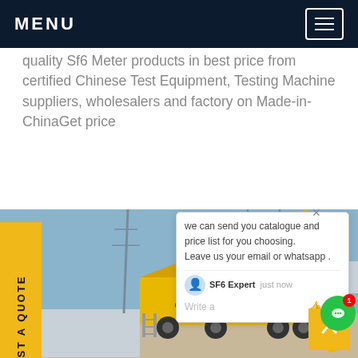MENU
quality Sf6 Meter products in best price from certified Chinese Test Equipment, Testing Machine suppliers, wholesalers and factory on Made-in-ChinaGet price
[Figure (photo): Yellow utility truck / service vehicle parked at an electrical substation with high-voltage transmission towers and large grey cylindrical equipment in the background, under a blue sky.]
REQUEST A QUOTE
we can send you catalogue and price list for you choosing.
Leave us your email or whatsapp .
SF6 Expert   just now
Write a